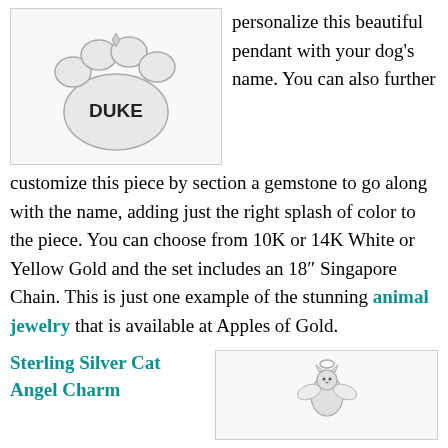[Figure (photo): A silver paw print pendant with the name DUKE engraved on it, on a white background]
personalize this beautiful pendant with your dog's name. You can also further customize this piece by section a gemstone to go along with the name, adding just the right splash of color to the piece. You can choose from 10K or 14K White or Yellow Gold and the set includes an 18″ Singapore Chain. This is just one example of the stunning animal jewelry that is available at Apples of Gold.
Sterling Silver Cat Angel Charm
[Figure (photo): A sterling silver cat angel charm pendant on a white background]